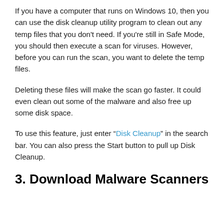If you have a computer that runs on Windows 10, then you can use the disk cleanup utility program to clean out any temp files that you don't need. If you're still in Safe Mode, you should then execute a scan for viruses. However, before you can run the scan, you want to delete the temp files.
Deleting these files will make the scan go faster. It could even clean out some of the malware and also free up some disk space.
To use this feature, just enter "Disk Cleanup" in the search bar. You can also press the Start button to pull up Disk Cleanup.
3. Download Malware Scanners